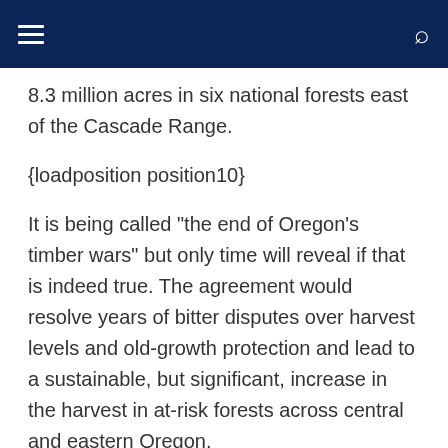Navigation bar with hamburger menu and search icon
8.3 million acres in six national forests east of the Cascade Range.
{loadposition position10}
It is being called "the end of Oregon's timber wars" but only time will reveal if that is indeed true. The agreement would resolve years of bitter disputes over harvest levels and old-growth protection and lead to a sustainable, but significant, increase in the harvest in at-risk forests across central and eastern Oregon.